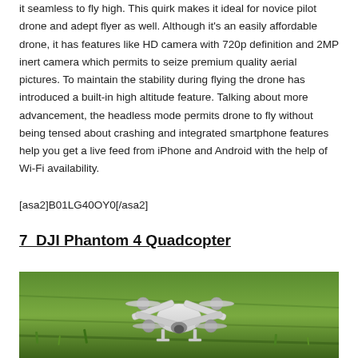it seamless to fly high. This quirk makes it ideal for novice pilot drone and adept flyer as well. Although it's an easily affordable drone, it has features like HD camera with 720p definition and 2MP inert camera which permits to seize premium quality aerial pictures. To maintain the stability during flying the drone has introduced a built-in high altitude feature. Talking about more advancement, the headless mode permits drone to fly without being tensed about crashing and integrated smartphone features help you get a live feed from iPhone and Android with the help of Wi-Fi availability.
[asa2]B01LG40OY0[/asa2]
7  DJI Phantom 4 Quadcopter
[Figure (photo): Photo of a DJI Phantom 4 Quadcopter drone sitting on green grass, viewed from a front-angled perspective, showing white body and propellers]